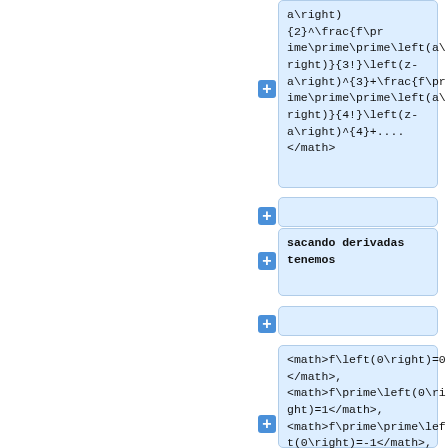+ [code block] a\right){2}^\frac{f\prime\prime\prime\left(a\right)}{3!}\left(z-a\right)^{3}+\frac{f\prime\prime\prime\left(a\right)}{4!}\left(z-a\right)^{4}+....
</math>
+ [empty block]
+ sacando derivadas tenemos
+ [empty block]
+ <math>f\left(0\right)=0</math>, <math>f\prime\left(0\right)=1</math>, <math>f\prime\prime\left(0\right)=-1</math>, <math>f\prime\prime\pri